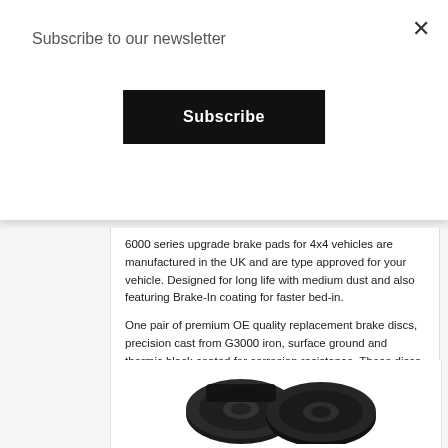Subscribe to our newsletter
Subscribe
6000 series upgrade brake pads for 4x4 vehicles are manufactured in the UK and are type approved for your vehicle. Designed for long life with medium dust and also featuring Brake-In coating for faster bed-in.
One pair of premium OE quality replacement brake discs, precision cast from G3000 iron, surface ground and thermic black coated for corrosion resistance. These discs are runout tested and are an exact replacement for manufacturer discs.
This brake kit provides the perfect combination for general street use.
[Figure (photo): Photo of black brake discs brake kit product]